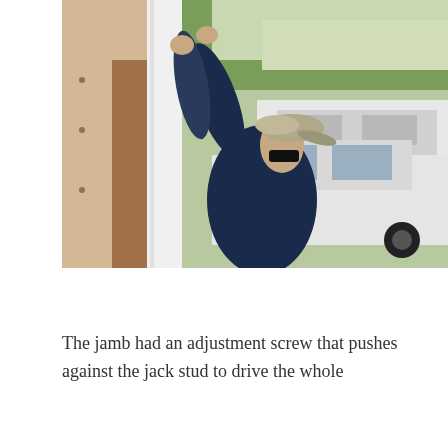[Figure (photo): A man wearing a navy blue long-sleeve shirt, sunglasses, and a grey baseball cap is reaching upward with both arms to work on a white door jamb or frame on the exterior of a building. Trees and parked vehicles including a white van and a white car are visible in the background.]
The jamb had an adjustment screw that pushes against the jack stud to drive the whole